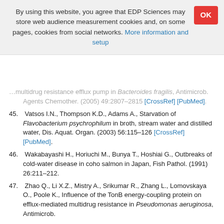By using this website, you agree that EDP Sciences may store web audience measurement cookies and, on some pages, cookies from social networks. More information and setup
[partial ref 44] multidrug resistance efflux pump in Bacteroides fragilis, Antimicrob. Agents Chemother. (2005) 49:2807–2815 [CrossRef] [PubMed].
45. Vatsos I.N., Thompson K.D., Adams A., Starvation of Flavobacterium psychrophilum in broth, stream water and distilled water, Dis. Aquat. Organ. (2003) 56:115–126 [CrossRef] [PubMed].
46. Wakabayashi H., Horiuchi M., Bunya T., Hoshiai G., Outbreaks of cold-water disease in coho salmon in Japan, Fish Pathol. (1991) 26:211–212.
47. Zhao Q., Li X.Z., Mistry A., Srikumar R., Zhang L., Lomovskaya O., Poole K., Influence of the TonB energy-coupling protein on efflux-mediated multidrug resistance in Pseudomonas aeruginosa, Antimicrob.